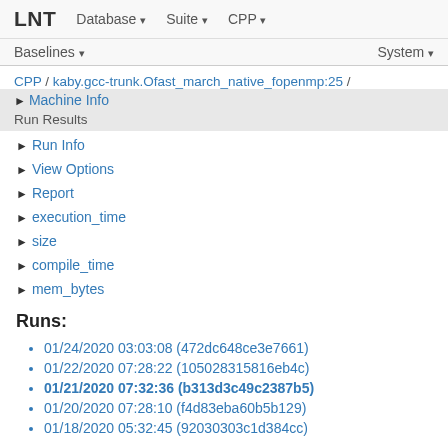LNT   Database ▾   Suite ▾   CPP ▾
Baselines ▾   System ▾
CPP / kaby.gcc-trunk.Ofast_march_native_fopenmp:25 /
▶ Machine Info
Run Results
▶ Run Info
▶ View Options
▶ Report
▶ execution_time
▶ size
▶ compile_time
▶ mem_bytes
Runs:
01/24/2020 03:03:08 (472dc648ce3e7661)
01/22/2020 07:28:22 (105028315816eb4c)
01/21/2020 07:32:36 (b313d3c49c2387b5)
01/20/2020 07:28:10 (f4d83eba60b5b129)
01/18/2020 05:32:45 (92030303c1d384cc)